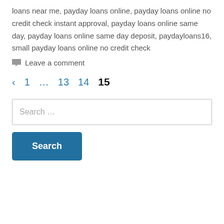loans near me, payday loans online, payday loans online no credit check instant approval, payday loans online same day, payday loans online same day deposit, paydayloans16, small payday loans online no credit check
Leave a comment
‹  1  …  13  14  15
Search …
Search